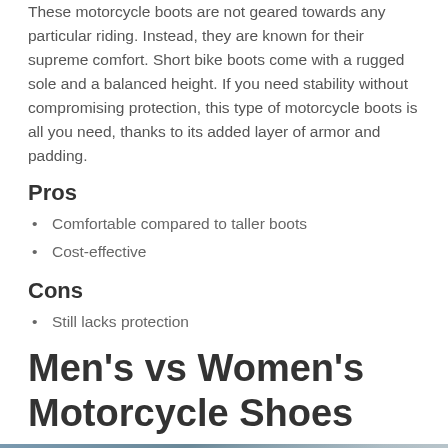These motorcycle boots are not geared towards any particular riding. Instead, they are known for their supreme comfort. Short bike boots come with a rugged sole and a balanced height. If you need stability without compromising protection, this type of motorcycle boots is all you need, thanks to its added layer of armor and padding.
Pros
Comfortable compared to taller boots
Cost-effective
Cons
Still lacks protection
Men's vs Women's Motorcycle Shoes
[Figure (photo): Blurred close-up photo of motorcycle boots or shoes, bluish-grey tones]